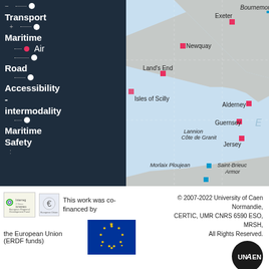[Figure (map): Interactive transport map showing UK south coast and Channel Islands with markers for airports/transport nodes at Exeter, Bournemouth, Newquay, Land's End, Isles of Scilly, Alderney, Guernsey, Jersey, Lannion Côte de Granit, Morlaix Ploujean, Saint-Brieuc Armor. Left sidebar shows transport layer controls including Transport, Maritime, Air, Road, Accessibility-intermodality, Maritime Safety categories.]
© 2007-2022 University of Caen Normandie, CERTIC, UMR CNRS 6590 ESO, MRSH, All Rights Reserved.
This work was co-financed by the European Union (ERDF funds)